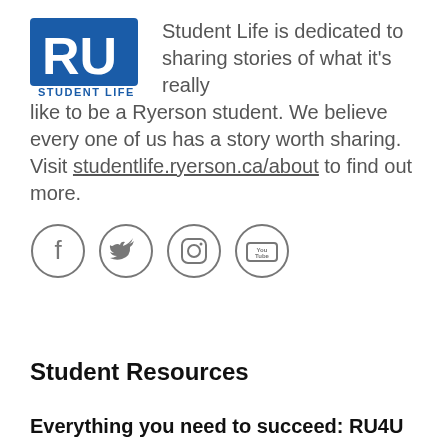[Figure (logo): Ryerson Student Life logo — blue RU letters with 'STUDENT LIFE' text below]
Student Life is dedicated to sharing stories of what it's really like to be a Ryerson student. We believe every one of us has a story worth sharing. Visit studentlife.ryerson.ca/about to find out more.
[Figure (infographic): Four social media icons in circles: Facebook (f), Twitter (bird), Instagram (camera), YouTube (play button)]
Student Resources
Everything you need to succeed: RU4U